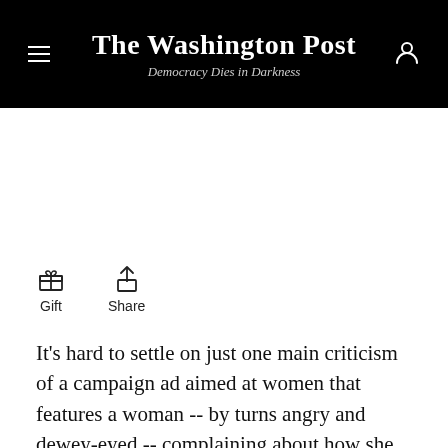The Washington Post — Democracy Dies in Darkness
Gift   Share
It's hard to settle on just one main criticism of a campaign ad aimed at women that features a woman -- by turns angry and dewey-eyed -- complaining about how she has fallen out of love with President Obama. Obama is the disappointing boyfriend who can't keep his promises and now sickens her so much that she must slam her laptop shut because she just can't stand to look at him or his online dating profile. Because he